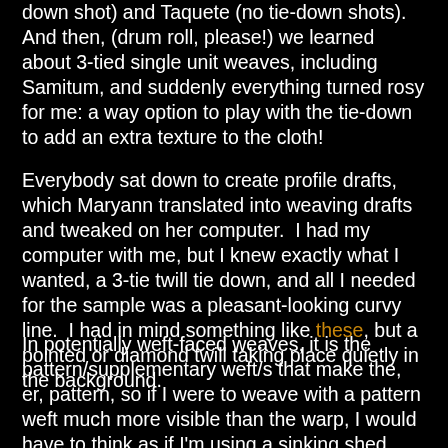down shot) and Taquete (no tie-down shots).  And then, (drum roll, please!) we learned about 3-tied single unit weaves, including Samitum, and suddenly everything turned rosy for me: a way option to play with the tie-down to add an extra texture to the cloth!
Everybody sat down to create profile drafts, which Maryann translated into weaving drafts and tweaked on her computer.  I had my computer with me, but I knew exactly what I wanted, a 3-tie twill tie down, and all I needed for the sample was a pleasant-looking curvy line.  I had in mind something like these, but a pointed or diamond twill taking place quietly in the background.
In potentially weft-faced weaves, it is the pattern/supplementary weft/s that make the, er, pattern, so if I were to weave with a pattern weft much more visible than the warp, I would have to think as if I'm using a sinking shed loom.  However, A) I like to use very thin tabby wefts, and pattern wefts the same size as the warp, so as to create B-side just the opposite ("Summer & Winter") of A-side, both sides potentially being the "right" side, and B) when weaving